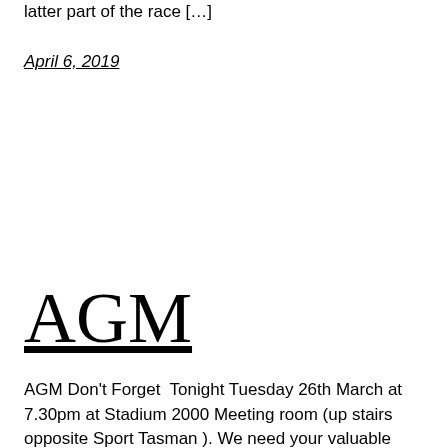latter part of the race […]
April 6, 2019
AGM
AGM Don't Forget  Tonight Tuesday 26th March at 7.30pm at Stadium 2000 Meeting room (up stairs opposite Sport Tasman ). We need your valuable